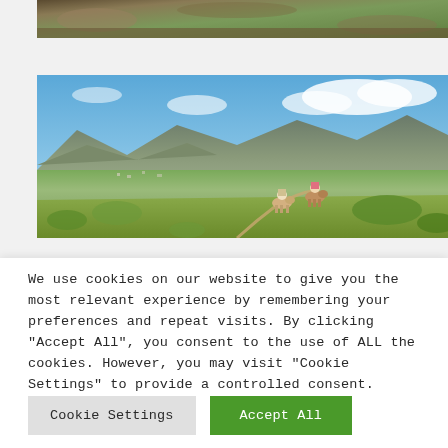[Figure (photo): Partial view of a hiking trail with dry scrubby vegetation and reddish-brown soil, cropped at top of page.]
[Figure (photo): Two people on horseback riding along a hillside trail with a panoramic view of a green valley, farmlands, and a large mountain range under a blue sky with clouds. Green fynbos vegetation is visible in the foreground.]
We use cookies on our website to give you the most relevant experience by remembering your preferences and repeat visits. By clicking “Accept All”, you consent to the use of ALL the cookies. However, you may visit “Cookie Settings” to provide a controlled consent.
Cookie Settings
Accept All